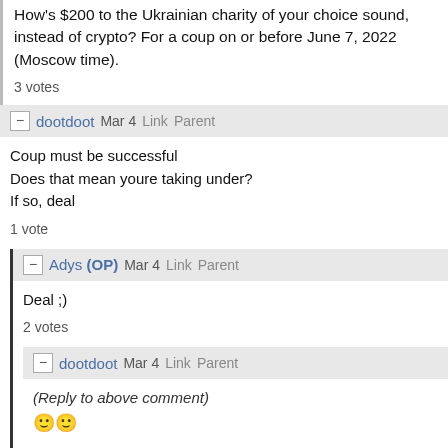How's $200 to the Ukrainian charity of your choice sound, instead of crypto? For a coup on or before June 7, 2022 (Moscow time).
3 votes
dootdoot Mar 4 Link Parent
Coup must be successful
Does that mean youre taking under?
If so, deal
1 vote
Adys (OP) Mar 4 Link Parent
Deal ;)
2 votes
dootdoot Mar 4 Link Parent
(Reply to above comment)
🙂🙂
1 vote
dootdoot Jun 7 Link Parent